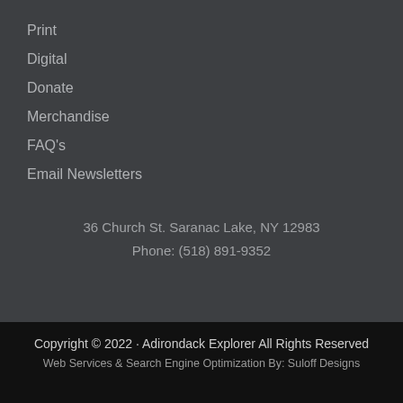Print
Digital
Donate
Merchandise
FAQ's
Email Newsletters
36 Church St. Saranac Lake, NY 12983
Phone: (518) 891-9352
Copyright © 2022 · Adirondack Explorer All Rights Reserved
Web Services & Search Engine Optimization By: Suloff Designs